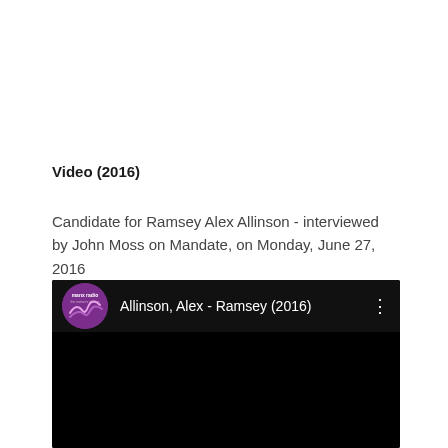Video (2016)
Candidate for Ramsey Alex Allinson - interviewed by John Moss on Mandate, on Monday, June 27, 2016
[Figure (screenshot): Embedded YouTube-style video player showing a Manx Radio video titled 'Allinson, Alex - Ramsey (2016)' with a purple Manx Radio channel logo on a black background.]